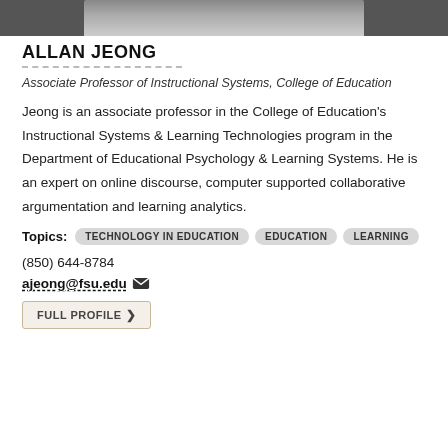[Figure (photo): Partial photo of Allan Jeong, cropped at top of page showing lower portion of face/shoulders]
ALLAN JEONG
Associate Professor of Instructional Systems, College of Education
Jeong is an associate professor in the College of Education's Instructional Systems & Learning Technologies program in the Department of Educational Psychology & Learning Systems. He is an expert on online discourse, computer supported collaborative argumentation and learning analytics.
Topics: TECHNOLOGY IN EDUCATION  EDUCATION  LEARNING
(850) 644-8784
ajeong@fsu.edu
FULL PROFILE